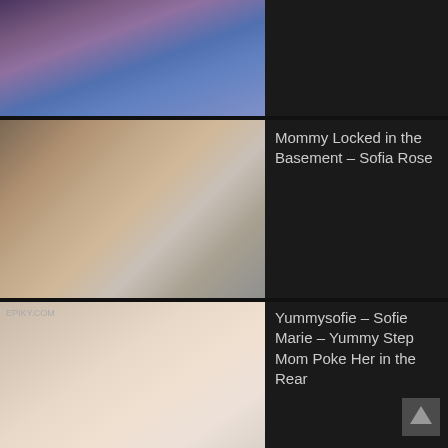[Figure (photo): Top thumbnail: woman with long brown hair wearing purple/colorful top]
[Figure (photo): Middle thumbnail: two people near a door, one in white tank top]
Mommy Locked in the Basement – Sofia Rose
[Figure (photo): Bottom thumbnail: explicit adult content scene with watermark EPIKY.COM]
Yummysofie – Sofie Marie – Yummy Step Mom Poke Her in the Rear